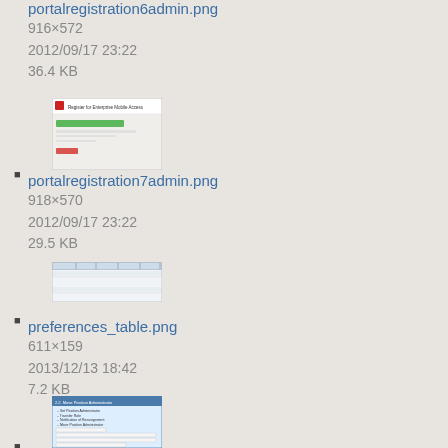portalregistration6admin.png
916×572
2012/09/17 23:22
36.4 KB
[Figure (screenshot): Thumbnail preview of portalregistration6admin.png showing a form with red icon header and green bar]
portalregistration7admin.png
918×570
2012/09/17 23:22
29.5 KB
[Figure (screenshot): Thumbnail preview of portalregistration7admin.png showing a table/grid layout with blue-gray rows]
preferences_table.png
611×159
2013/12/13 18:42
7.2 KB
[Figure (screenshot): Thumbnail preview of preferences_table.png showing a preferences form with blue header and form fields]